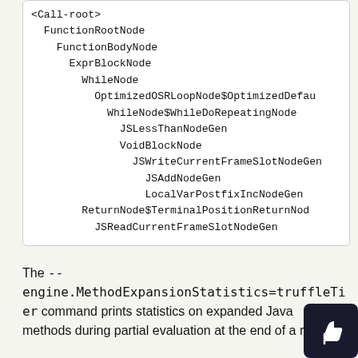[Figure (screenshot): Code block showing a tree structure of AST/IR nodes: <Call-root>, FunctionRootNode, FunctionBodyNode, ExprBlockNode, WhileNode, OptimizedOSRLoopNode$OptimizedDefau, WhileNode$WhileDoRepeatingNode, JSLessThanNodeGen, VoidBlockNode, JSWriteCurrentFrameSlotNodeGen, JSAddNodeGen, LocalVarPostfixIncNodeGen, ReturnNode$TerminalPositionReturnNod, JSReadCurrentFrameSlotNodeGen]
The --engine.MethodExpansionStatistics=truffleTier command prints statistics on expanded Java methods during partial evaluation at the end of a run.